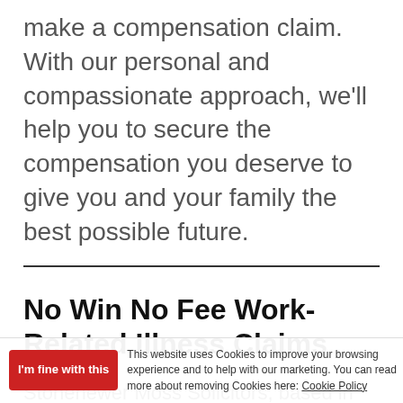make a compensation claim. With our personal and compassionate approach, we'll help you to secure the compensation you deserve to give you and your family the best possible future.
No Win No Fee Work-Related Illness Claims
Stonehewer Moss Solicitors, based in Northwich, is one of Cheshire's leading personal injury claims solicitors, accredited by the Association of Personal Injury Lawyers, with vast experience and an extensive record of compensation claims successfully... work-related illnesses.
This website uses Cookies to improve your browsing experience and to help with our marketing. You can read more about removing Cookies here: Cookie Policy